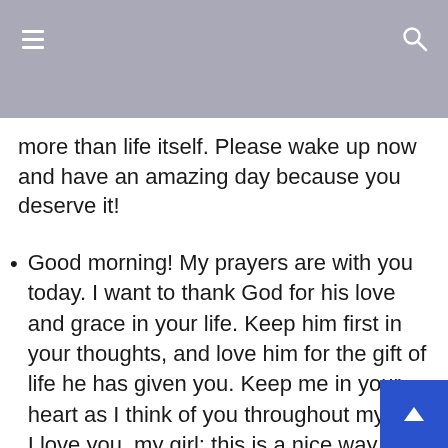more than life itself. Please wake up now and have an amazing day because you deserve it!
Good morning! My prayers are with you today. I want to thank God for his love and grace in your life. Keep him first in your thoughts, and love him for the gift of life he has given you. Keep me in your heart as I think of you throughout my day. I love you, my girl; this is a nice way to start my day.